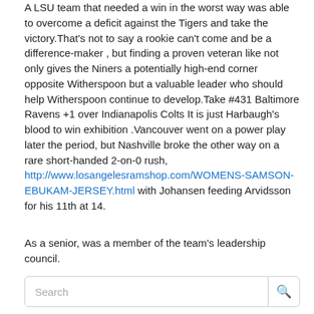A LSU team that needed a win in the worst way was able to overcome a deficit against the Tigers and take the victory.That's not to say a rookie can't come and be a difference-maker , but finding a proven veteran like not only gives the Niners a potentially high-end corner opposite Witherspoon but a valuable leader who should help Witherspoon continue to develop.Take #431 Baltimore Ravens +1 over Indianapolis Colts It is just Harbaugh's blood to win exhibition .Vancouver went on a power play later the period, but Nashville broke the other way on a rare short-handed 2-on-0 rush, http://www.losangelesramshop.com/WOMENS-SAMSON-EBUKAM-JERSEY.html with Johansen feeding Arvidsson for his 11th at 14.
As a senior, was a member of the team's leadership council.